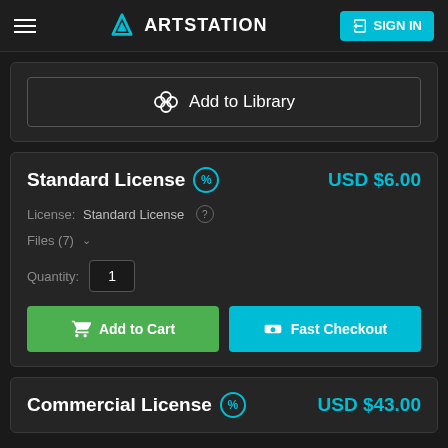ArtStation — SIGN IN
Add to Library
Standard License  USD $6.00
License: Standard License
Files (7)
Quantity: 1
Add to Cart   Fast Checkout
Commercial License  USD $43.00